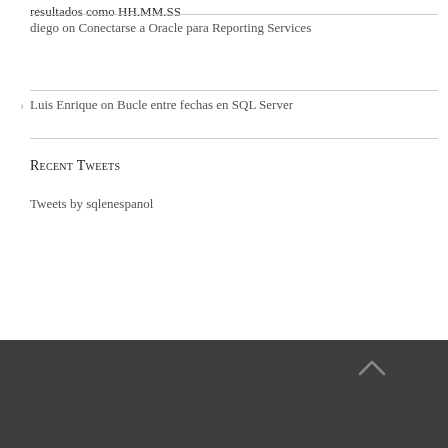resultados como HH.MM.SS
diego on Conectarse a Oracle para Reporting Services
Luis Enrique on Bucle entre fechas en SQL Server
Recent Tweets
Tweets by sqlenespanol
SUSCRÍBASE A NUESTRA LISTA